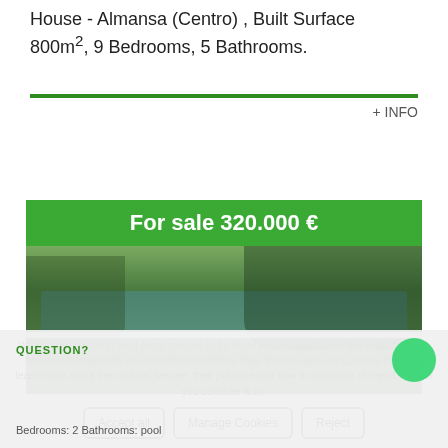House - Almansa (Centro) , Built Surface 800m², 9 Bedrooms, 5 Bathrooms.
+ INFO
[Figure (photo): Property listing photo showing outdoor pool area surrounded by trees and palm trees, with seating area visible]
For sale 320.000 €
We use our own and third-party cookies to facilitate your navigation on the website, learn how you interact with us and collect statistical data. Please read our Cookies Policy to learn more about the cookies we use, their purpose and how to configure or reject them, if you consider it so.
Accept all
Manage Cookies
Reject
QUESTION?
Bedrooms: 2 Bathrooms: pool